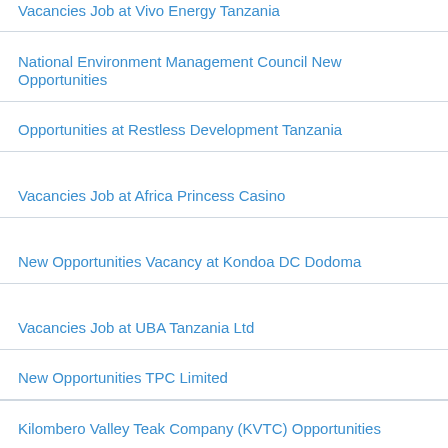Vacancies Job at Vivo Energy Tanzania
National Environment Management Council New Opportunities
Opportunities at Restless Development Tanzania
Vacancies Job at Africa Princess Casino
New Opportunities Vacancy at Kondoa DC Dodoma
Vacancies Job at UBA Tanzania Ltd
New Opportunities TPC Limited
Kilombero Valley Teak Company (KVTC) Opportunities
Labels
CAREER ADVICE CONSULTANT CV EDUCATION GOVERNMENT JO GROUPS INVITE LINKS INTERNATIONAL OPPORTUNITIES INTERNSHIP